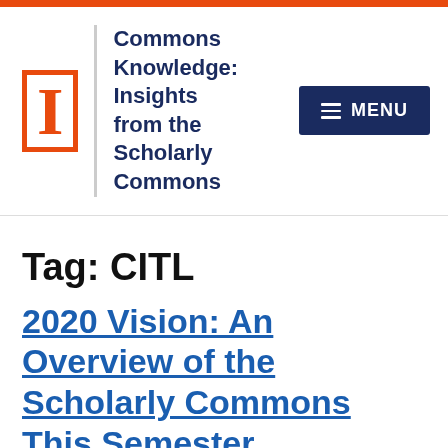[Figure (logo): University of Illinois block I logo in orange with border, followed by vertical divider and site title 'Commons Knowledge: Insights from the Scholarly Commons']
Tag: CITL
2020 Vision: An Overview of the Scholarly Commons This Semester